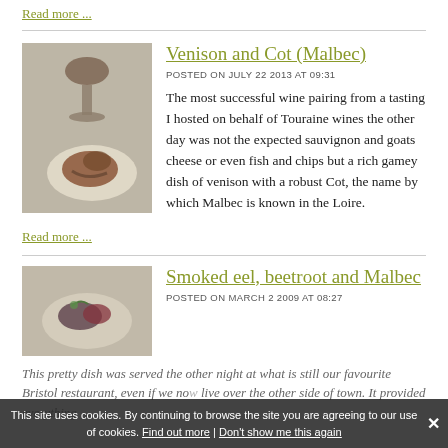Read more ...
[Figure (photo): Food photo: venison dish with wine glass]
Venison and Cot (Malbec)
POSTED ON JULY 22 2013 AT 09:31
The most successful wine pairing from a tasting I hosted on behalf of Touraine wines the other day was not the expected sauvignon and goats cheese or even fish and chips but a rich gamey dish of venison with a robust Cot, the name by which Malbec is known in the Loire.
Read more ...
[Figure (photo): Food photo: smoked eel with beetroot]
Smoked eel, beetroot and Malbec
POSTED ON MARCH 2 2009 AT 08:27
This pretty dish was served the other night at what is still our favourite Bristol restaurant, even if we now live over the other side of town. It provided everything
This site uses cookies. By continuing to browse the site you are agreeing to our use of cookies. Find out more | Don't show me this again